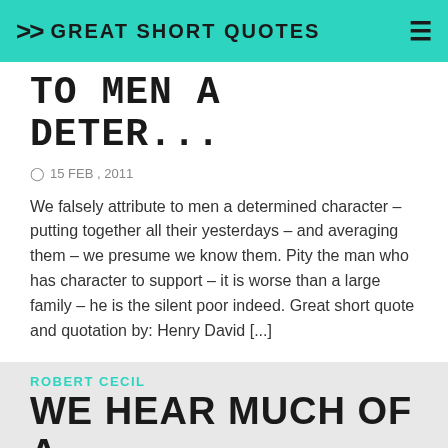>> GREAT SHORT QUOTES
TO MEN A DETER...
15 FEB , 2011
We falsely attribute to men a determined character – putting together all their yesterdays – and averaging them – we presume we know them. Pity the man who has character to support – it is worse than a large family – he is the silent poor indeed. Great short quote and quotation by: Henry David [...]
Attribute, Averaging, Character, Determined, Falsely, Family, Indeed, Large, Presume, Putting, Silent, Support, Their, Together, Worse, Yesterdays
ROBERT CECIL
WE HEAR MUCH OF A DECENT PRIDE, A B...